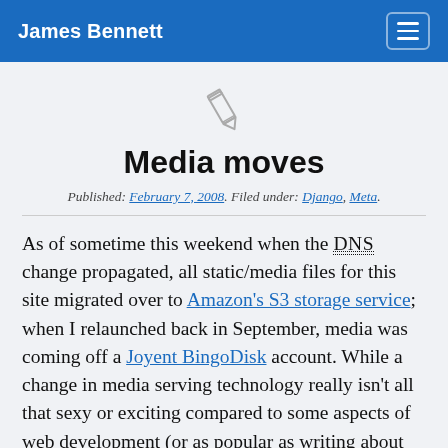James Bennett
[Figure (illustration): Pencil/edit icon in outline style, gray color]
Media moves
Published: February 7, 2008. Filed under: Django, Meta.
As of sometime this weekend when the DNS change propagated, all static/media files for this site migrated over to Amazon's S3 storage service; when I relaunched back in September, media was coming off a Joyent BingoDisk account. While a change in media serving technology really isn't all that sexy or exciting compared to some aspects of web development (or as popular as writing about